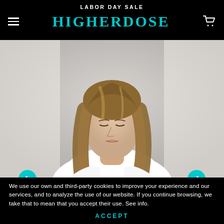LABOR DAY SALE
HIGHERDOSE
[Figure (photo): Woman with long blonde hair wearing a white top, looking downward, photographed against a gray background. This is a product/lifestyle photo for HigherDose brand.]
We use our own and third-party cookies to improve your experience and our services, and to analyze the use of our website. If you continue browsing, we take that to mean that you accept their use. See info.
ACCEPT